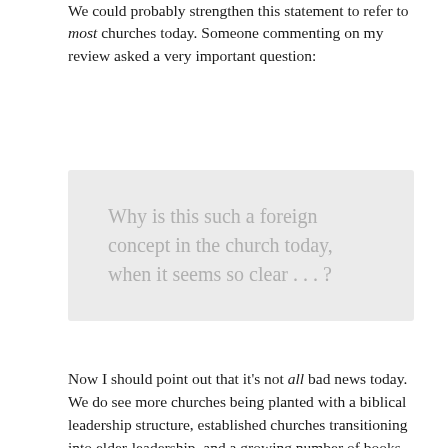We could probably strengthen this statement to refer to most churches today. Someone commenting on my review asked a very important question:
Why is this such a foreign concept in the church today, when it seems so clear . . . ?
Now I should point out that it's not all bad news today. We do see more churches being planted with a biblical leadership structure, established churches transitioning into elder-leadership, and a growing number of books propounding a scriptural form of eldership. This is all encouraging but, when we look at the vast number of churches, the relative few who have a genuinely biblical eldership still constitute a tiny minority. This naturally